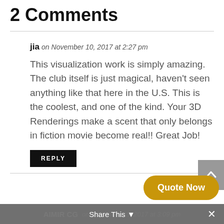2 Comments
jia on November 10, 2017 at 2:27 pm
This visualization work is simply amazing. The club itself is just magical, haven't seen anything like that here in the U.S. This is the coolest, and one of the kind. Your 3D Renderings make a scent that only belongs in fiction movie become real!! Great Job!
REPLY
AIMIR CG on November 13, 2017 at 3:09 pm
Share This
Quote Now